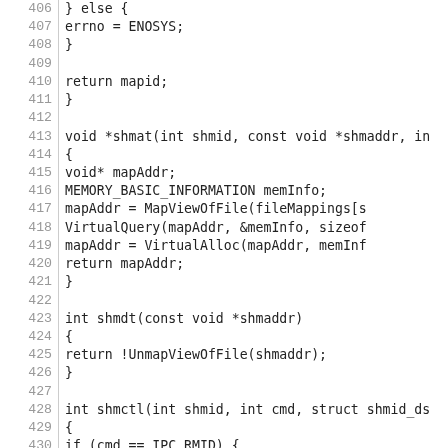Code listing lines 406-435, C source code for shmat, shmdt, shmctl functions
406: } else {
407:         errno = ENOSYS;
408: }
409:
410:         return mapid;
411: }
412:
413: void *shmat(int shmid, const void *shmaddr, in
414: {
415:         void* mapAddr;
416:         MEMORY_BASIC_INFORMATION memInfo;
417:         mapAddr = MapViewOfFile(fileMappings[s
418:         VirtualQuery(mapAddr, &memInfo, sizeof
419:         mapAddr = VirtualAlloc(mapAddr, memInf
420:         return mapAddr;
421: }
422:
423: int shmdt(const void *shmaddr)
424: {
425:         return !UnmapViewOfFile(shmaddr);
426: }
427:
428: int shmctl(int shmid, int cmd, struct shmid_ds
429: {
430:         if (cmd == IPC_RMID) {
431:                 fileMappings[shmid] = INVALID_
432:                 return 0;
433:         } else {
434:                 log_err("%s is not implemente
435:         }